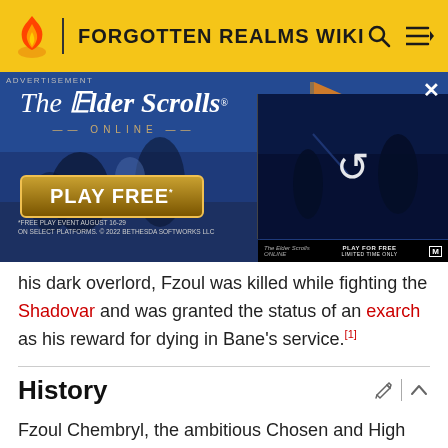FORGOTTEN REALMS WIKI
[Figure (screenshot): Advertisement for The Elder Scrolls Online showing 'PLAY FREE' banner with game artwork and a video thumbnail with a reload icon]
his dark overlord, Fzoul was killed while fighting the Shadovar and was granted the status of an exarch as his reward for dying in Bane's service.[1]
History
Fzoul Chembryl, the ambitious Chosen and High Priest of Bane, joined the Zhentarim when Lord Manshoon (then leader of the Zhentarim) forged an alliance with him. He served as second-in-command for years, seemingly